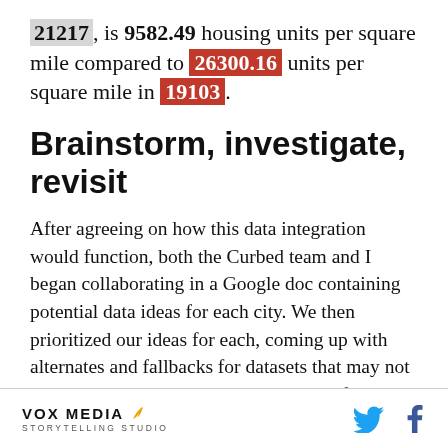21217, is 9582.49 housing units per square mile compared to 26300.16 units per square mile in 19103.
Brainstorm, investigate, revisit
After agreeing on how this data integration would function, both the Curbed team and I began collaborating in a Google doc containing potential data ideas for each city. We then prioritized our ideas for each, coming up with alternates and fallbacks for datasets that may not be available on a granular enough level for the zip code specific comparison we planned to implement.
Because we needed to be able to provide a variety of
VOX MEDIA STORYTELLING STUDIO